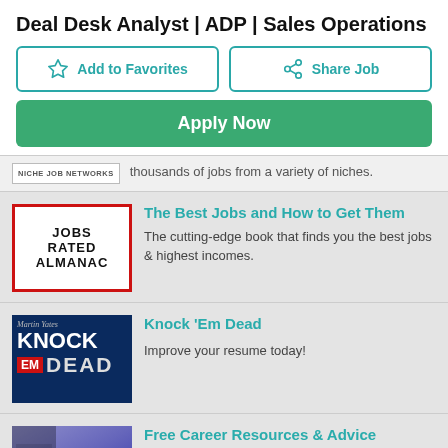Deal Desk Analyst | ADP | Sales Operations
Add to Favorites
Share Job
Apply Now
thousands of jobs from a variety of niches.
[Figure (logo): NICHE JOB NETWORKS label box]
The Best Jobs and How to Get Them
[Figure (logo): Jobs Rated Almanac book cover]
The cutting-edge book that finds you the best jobs & highest incomes.
Knock 'Em Dead
[Figure (logo): Knock Em Dead book cover by Martin Yates]
Improve your resume today!
Free Career Resources & Advice
[Figure (logo): Job-Hunt.org logo on purple background]
Directories of associations